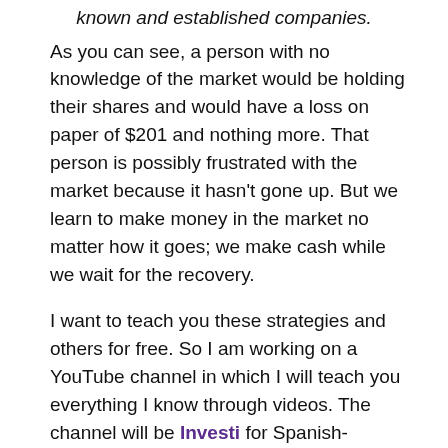known and established companies.
As you can see, a person with no knowledge of the market would be holding their shares and would have a loss on paper of $201 and nothing more. That person is possibly frustrated with the market because it hasn't gone up. But we learn to make money in the market no matter how it goes; we make cash while we wait for the recovery.
I want to teach you these strategies and others for free. So I am working on a YouTube channel in which I will teach you everything I know through videos. The channel will be Investi for Spanish-speaking individuals and InvestCity for English-speaking people. We estimate its opening for the end of summer for Investi and early next year for InvestCity.
Stay tuned, and we will provide you with more